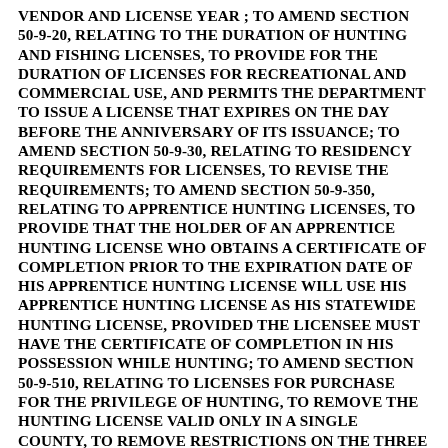VENDOR AND LICENSE YEAR ; TO AMEND SECTION 50-9-20, RELATING TO THE DURATION OF HUNTING AND FISHING LICENSES, TO PROVIDE FOR THE DURATION OF LICENSES FOR RECREATIONAL AND COMMERCIAL USE, AND PERMITS THE DEPARTMENT TO ISSUE A LICENSE THAT EXPIRES ON THE DAY BEFORE THE ANNIVERSARY OF ITS ISSUANCE; TO AMEND SECTION 50-9-30, RELATING TO RESIDENCY REQUIREMENTS FOR LICENSES, TO REVISE THE REQUIREMENTS; TO AMEND SECTION 50-9-350, RELATING TO APPRENTICE HUNTING LICENSES, TO PROVIDE THAT THE HOLDER OF AN APPRENTICE HUNTING LICENSE WHO OBTAINS A CERTIFICATE OF COMPLETION PRIOR TO THE EXPIRATION DATE OF HIS APPRENTICE HUNTING LICENSE WILL USE HIS APPRENTICE HUNTING LICENSE AS HIS STATEWIDE HUNTING LICENSE, PROVIDED THE LICENSEE MUST HAVE THE CERTIFICATE OF COMPLETION IN HIS POSSESSION WHILE HUNTING; TO AMEND SECTION 50-9-510, RELATING TO LICENSES FOR PURCHASE FOR THE PRIVILEGE OF HUNTING, TO REMOVE THE HUNTING LICENSE VALID ONLY IN A SINGLE COUNTY, TO REMOVE RESTRICTIONS ON THE THREE YEAR LICENSE PURCHASE, TO CLARIFY REQUIREMENTS FOR MIGRATORY WATERFOWL PERMITS, AND TO PROVIDE FOR THE RETAINED VENDOR FEE; TO AMEND SECTION 50-9-530, RELATING TO